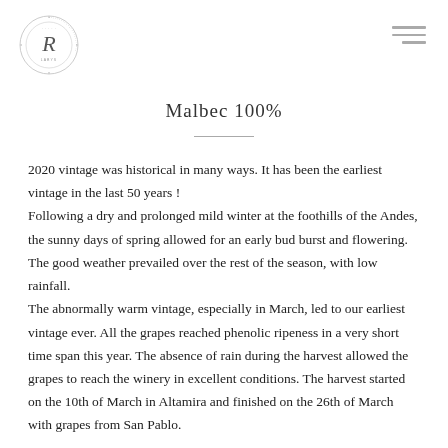[Figure (logo): Circular logo with stylized R in the center and text around the border]
Malbec 100%
2020 vintage was historical in many ways. It has been the earliest vintage in the last 50 years !
Following a dry and prolonged mild winter at the foothills of the Andes, the sunny days of spring allowed for an early bud burst and flowering. The good weather prevailed over the rest of the season, with low rainfall.
The abnormally warm vintage, especially in March, led to our earliest vintage ever. All the grapes reached phenolic ripeness in a very short time span this year. The absence of rain during the harvest allowed the grapes to reach the winery in excellent conditions. The harvest started on the 10th of March in Altamira and finished on the 26th of March with grapes from San Pablo.